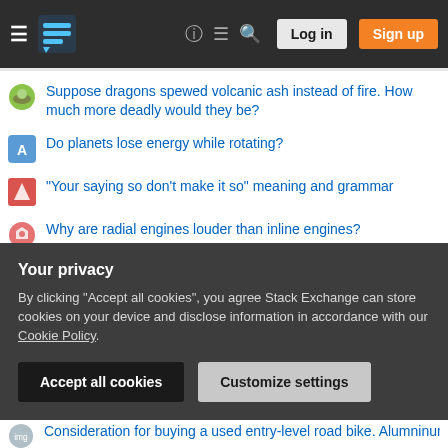Stack Exchange navigation header with hamburger menu, logo, help, chat, search, Log in, Sign up
Suppose dragons spewed volcanic ash instead of fire. How much more deadly would they be?
Do planets lose energy while rotating?
"Your saying so don't make it so" meaning and grammar
Why are radial engines louder than inline engines?
Can you model cold as flowing?
do classical Arabic verb forms have a passive-active relationship like some Hebrew "buildings" do?
How to draw 3d cylinder directed in x axis with TikZ?
Is pronouncing loanwords according to their "native" pronunciation
Your privacy
By clicking "Accept all cookies", you agree Stack Exchange can store cookies on your device and disclose information in accordance with our Cookie Policy.
Consideration for buying a used entry-level road bike. Alumninum vs